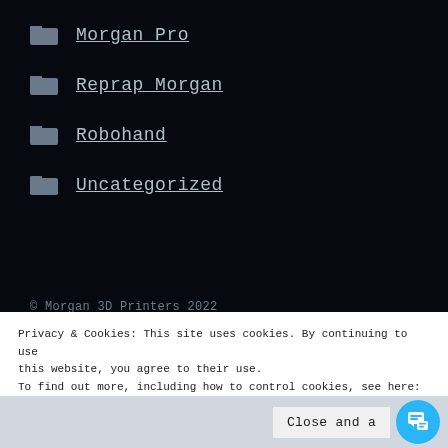Morgan Pro
Reprap Morgan
Robohand
Uncategorized
© Morgan 3D Printers 2022
Privacy & Cookies: This site uses cookies. By continuing to use this website, you agree to their use.
To find out more, including how to control cookies, see here: Cookie Policy
Close and a